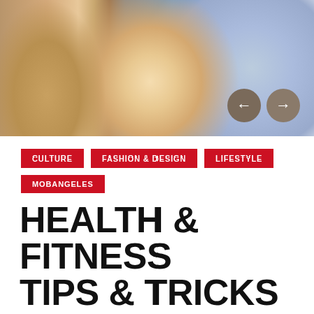[Figure (photo): Hero image showing a person in blue lingerie with carousel navigation arrows overlaid on the right side]
CULTURE
FASHION & DESIGN
LIFESTYLE
MOBANGELES
HEALTH & FITNESS TIPS & TRICKS WITH EUGENIA KUZMINA
Mob Team • June 17, 2019